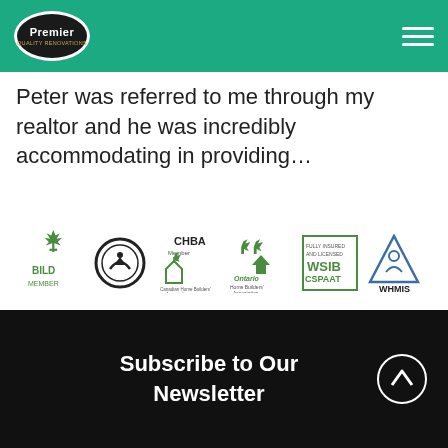Premier Quality Renovations
Peter was referred to me through my realtor and he was incredibly accommodating in providing…
[Figure (logo): Row of membership/certification logos: BILD Member, Ringmark, CHBA Member (Canadian Home Builders' Association), Ontario Home Builders' Association, WSIB CSPAAT (Fully Insured and Licensed), WHMIS]
Subscribe to Our Newsletter